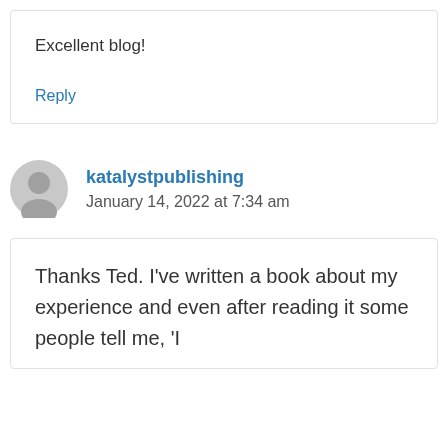Excellent blog!
Reply
katalystpublishing
January 14, 2022 at 7:34 am
Thanks Ted. I’ve written a book about my experience and even after reading it some people tell me, ‘I